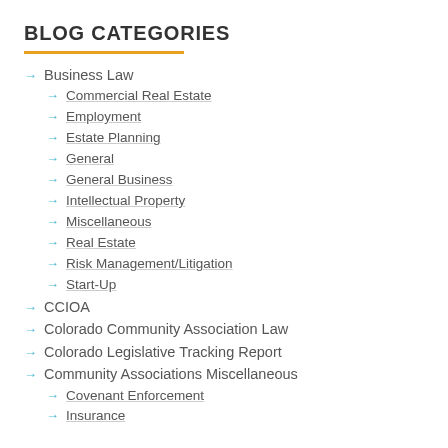BLOG CATEGORIES
Business Law
Commercial Real Estate
Employment
Estate Planning
General
General Business
Intellectual Property
Miscellaneous
Real Estate
Risk Management/Litigation
Start-Up
CCIOA
Colorado Community Association Law
Colorado Legislative Tracking Report
Community Associations Miscellaneous
Covenant Enforcement
Insurance